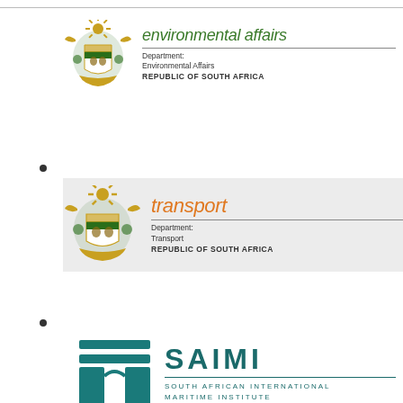[Figure (logo): South African Department of Environmental Affairs logo with coat of arms and green italic text]
[Figure (logo): South African Department of Transport logo with coat of arms and orange italic text]
[Figure (logo): SAIMI - South African International Maritime Institute logo with teal icon]
[Figure (logo): Partial logo with blue and green wave design, bottom of page]